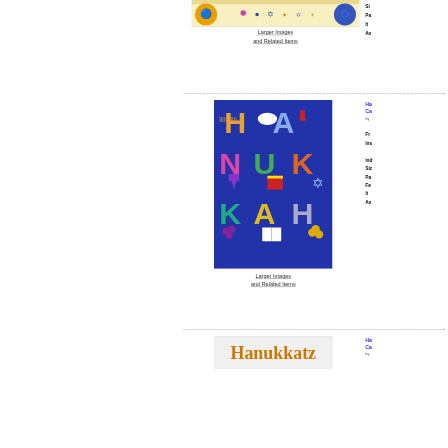[Figure (photo): Hanukkah themed card or product image with dreidel and Star of David decorations on yellow/orange background]
Larger Images and Related Items
Si... Pa... It... Av...
[Figure (photo): Hanukkah card with colorful block letters spelling HANUKKAH on blue background with menorah, dove, dreidel, star of David, grapes, coins]
Larger Images and Related Items
Ha Ca by Fr In In Si Pa Fe It Av
[Figure (photo): Hanukkatz product image showing text Hanukkatz in golden/orange letters]
Ha Ca by